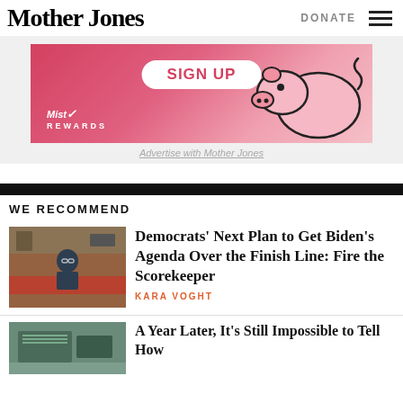Mother Jones
DONATE
[Figure (illustration): Advertisement banner for Mist Rewards with SIGN UP button and pink pig illustration]
Advertise with Mother Jones
WE RECOMMEND
[Figure (photo): Man in suit with glasses sitting at a hearing table in a congressional room]
Democrats’ Next Plan to Get Biden’s Agenda Over the Finish Line: Fire the Scorekeeper
KARA VOGHT
[Figure (photo): Aerial view of a large facility or building complex]
A Year Later, It’s Still Impossible to Tell How...